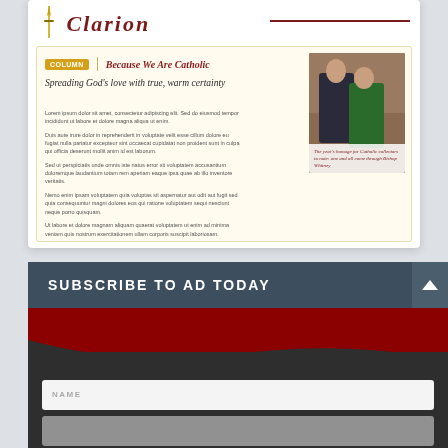[Figure (screenshot): Partially visible logo of a publication called 'Clarion' or similar Catholic publication, with a sword icon and dark red text, against white background with a dark red horizontal line]
COLUMN | Because We Are Catholic
Spreading God's love with true, warm certainty
Blurred article body text paragraphs about spreading God's love
[Figure (photo): Photo of two people in formal attire, one in a dark suit and one in a green dress, standing together]
The year's homage for Catholic collectors to note: one and all come through Bishop Whitney
SUBSCRIBE TO AD TODAY
NAME input field
Second input field (partially visible)